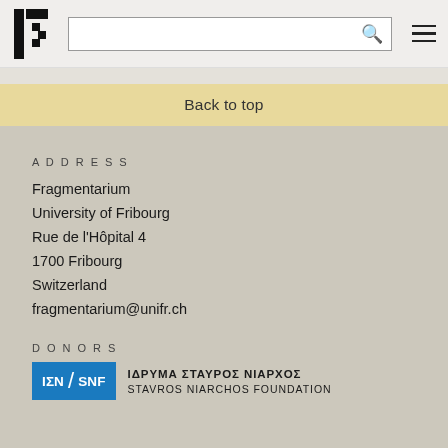[Figure (logo): Fragmentarium logo — stylized F made of rectangles]
Search bar and hamburger menu
Back to top
ADDRESS
Fragmentarium
University of Fribourg
Rue de l'Hôpital 4
1700 Fribourg
Switzerland
fragmentarium@unifr.ch
DONORS
[Figure (logo): Stavros Niarchos Foundation logo — blue box with IΣN/SNF text and full name in Greek and English]